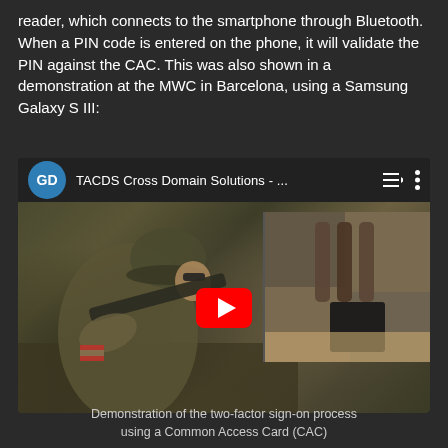reader, which connects to the smartphone through Bluetooth. When a PIN code is entered on the phone, it will validate the PIN against the CAC. This was also shown in a demonstration at the MWC in Barcelona, using a Samsung Galaxy S III:
[Figure (screenshot): YouTube video embed thumbnail showing 'TACDS Cross Domain Solutions - ...' with a soldier in camouflage gear in the foreground and military equipment in an inset, with a red YouTube play button overlay.]
Demonstration of the two-factor sign-on process using a Common Access Card (CAC)